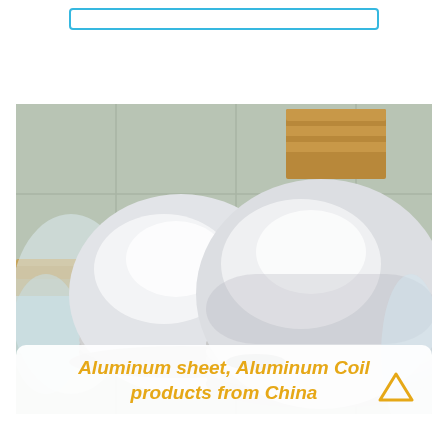[Figure (photo): Stacks of circular aluminum discs/circles on a wooden pallet on a concrete floor in a warehouse. Two large stacks of polished silver aluminum circles are visible, with plastic wrapping around them. Background shows gray concrete floor and wood pallets.]
Aluminum sheet, Aluminum Coil products from China